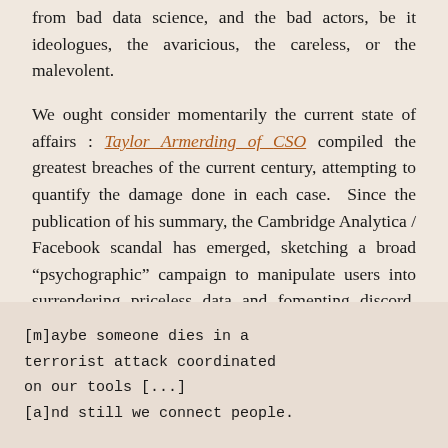from bad data science, and the bad actors, be it ideologues, the avaricious, the careless, or the malevolent.

We ought consider momentarily the current state of affairs : Taylor Armerding of CSO compiled the greatest breaches of the current century, attempting to quantify the damage done in each case.  Since the publication of his summary, the Cambridge Analytica / Facebook scandal has emerged, sketching a broad “psychographic” campaign to manipulate users into surrendering priceless data and fomenting discord. Quite dramatically, a 2016 memo leaked from within Facebook shows executive Andrew Bosworth quipping,
[m]aybe someone dies in a
    terrorist attack coordinated
    on our tools [...]
    [a]nd still we connect people.